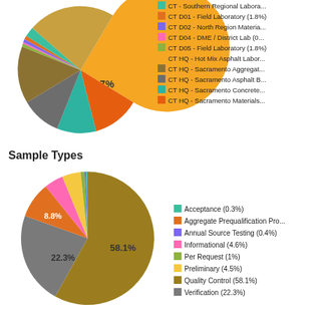[Figure (pie-chart): Laboratory Distribution (partial)]
[Figure (pie-chart): Sample Types]